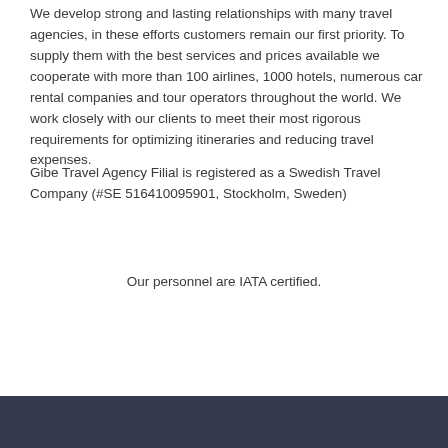We develop strong and lasting relationships with many travel agencies, in these efforts customers remain our first priority. To supply them with the best services and prices available we cooperate with more than 100 airlines, 1000 hotels, numerous car rental companies and tour operators throughout the world. We work closely with our clients to meet their most rigorous requirements for optimizing itineraries and reducing travel expenses.
Gibe Travel Agency Filial is registered as a Swedish Travel Company (#SE 516410095901, Stockholm, Sweden)
Our personnel are IATA certified.